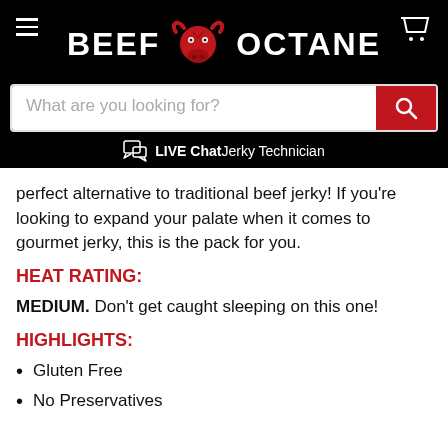[Figure (logo): Beef Octane logo with red bull head icon between BEEF and OCTANE text on black background]
[Figure (screenshot): Search bar with placeholder 'What are you looking for?' and red search button]
LIVE Chat Jerky Technician
perfect alternative to traditional beef jerky! If you're looking to expand your palate when it comes to gourmet jerky, this is the pack for you.
HEAT RATING:
MEDIUM. Don't get caught sleeping on this one!
HIGHLIGHTS:
Gluten Free
No Preservatives